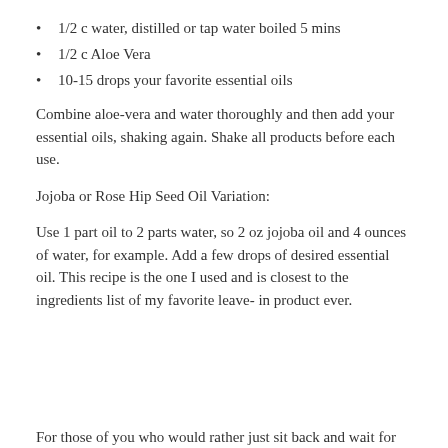1/2 c water, distilled or tap water boiled 5 mins
1/2 c Aloe Vera
10-15 drops your favorite essential oils
Combine aloe-vera and water thoroughly and then add your essential oils, shaking again. Shake all products before each use.
Jojoba or Rose Hip Seed Oil Variation:
Use 1 part oil to 2 parts water, so 2 oz jojoba oil and 4 ounces of water, for example. Add a few drops of desired essential oil. This recipe is the one I used and is closest to the ingredients list of my favorite leave- in product ever.
For those of you who would rather just sit back and wait for